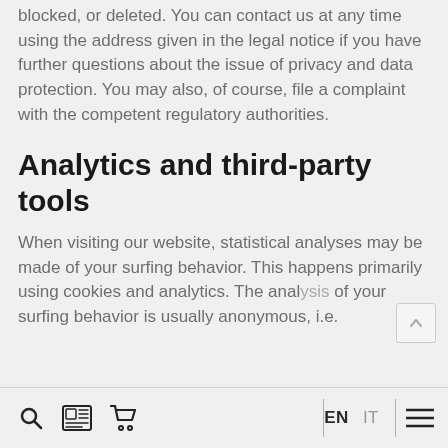blocked, or deleted. You can contact us at any time using the address given in the legal notice if you have further questions about the issue of privacy and data protection. You may also, of course, file a complaint with the competent regulatory authorities.
Analytics and third-party tools
When visiting our website, statistical analyses may be made of your surfing behavior. This happens primarily using cookies and analytics. The analysis of your surfing behavior is usually anonymous, i.e.
EN  IT  [search] [newspaper] [cart] [menu]